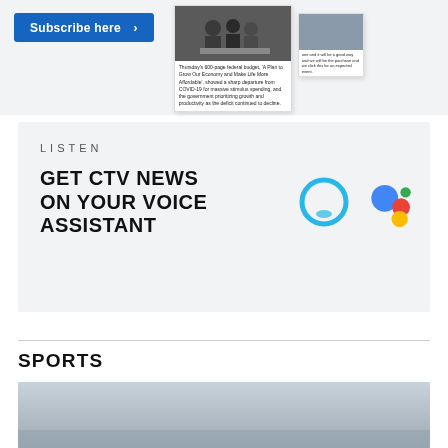[Figure (screenshot): Subscribe here button (blue) and two news article cards with images and text]
[Figure (infographic): LISTEN banner: GET CTV NEWS ON YOUR VOICE ASSISTANT with Alexa and Google Assistant icons]
SPORTS
[Figure (photo): Sports section image — grey/outdoor scene, partially visible]